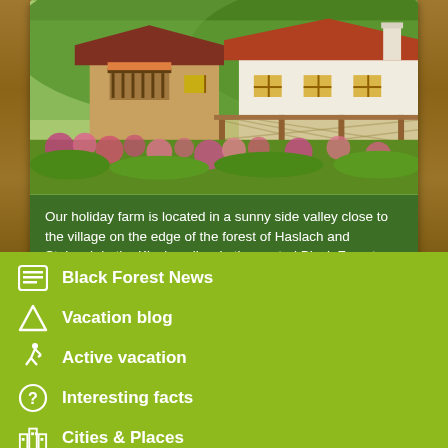[Figure (photo): A Bavarian/Black Forest farmhouse with flower gardens in foreground, woodpile fence, and green hillside in background]
Our holiday farm is located in a sunny side valley close to the village on the edge of the forest of Haslach and Steinach in the Kinzig valley, in the central Black Forest. The market town of Haslach is 1
Black Forest News
Vacation blog
Active vacation
Interesting facts
Cities & Places